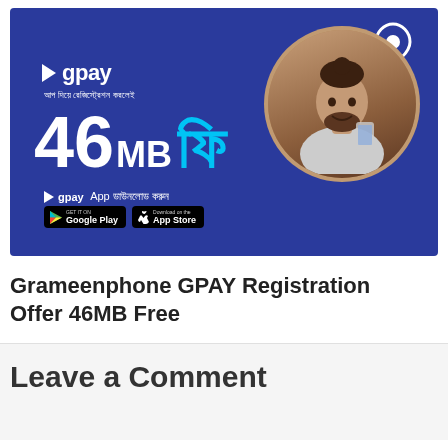[Figure (infographic): Grameenphone GPAY app advertisement banner. Dark blue background with gpay logo, Bengali text, '46MB ফি' offer text in white and cyan, gpay App download instruction in Bengali, Google Play and App Store buttons, and a circular photo of a man looking at his smartphone on the right side.]
Grameenphone GPAY Registration Offer 46MB Free
Leave a Comment